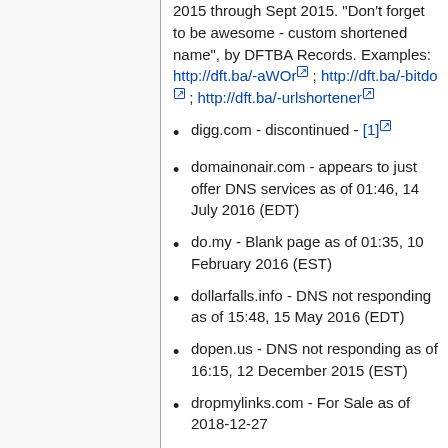2015 through Sept 2015. "Don't forget to be awesome - custom shortened name", by DFTBA Records. Examples: http://dft.ba/-aWOr ; http://dft.ba/-bitdo ; http://dft.ba/-urlshortener
digg.com - discontinued - [1]
domainonair.com - appears to just offer DNS services as of 01:46, 14 July 2016 (EDT)
do.my - Blank page as of 01:35, 10 February 2016 (EST)
dollarfalls.info - DNS not responding as of 15:48, 15 May 2016 (EDT)
dopen.us - DNS not responding as of 16:15, 12 December 2015 (EST)
dropmylinks.com - For Sale as of 2018-12-27
dwarfurl.com - Numeric, appears incremental;